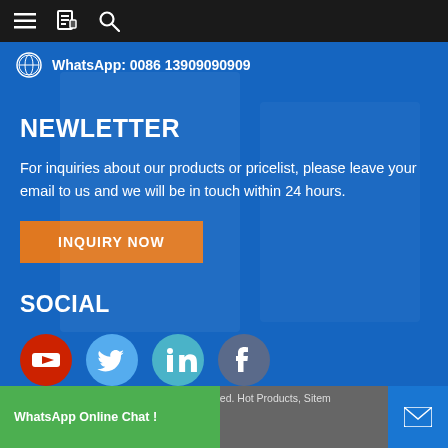≡  [book icon]  🔍
WhatsApp: 0086 13909090909
NEWLETTER
For inquiries about our products or pricelist, please leave your email to us and we will be in touch within 24 hours.
INQUIRY NOW
SOCIAL
[Figure (infographic): Social media icons: YouTube (red), Twitter (light blue), LinkedIn (teal/blue), Facebook (dark blue/gray)]
© Copyright - 2010-2021 : All Rights Reserved. Hot Products, Siten... WhatsApp Online Chat ! r, Hydraulic Pressure Sensor, Hvac Pre...